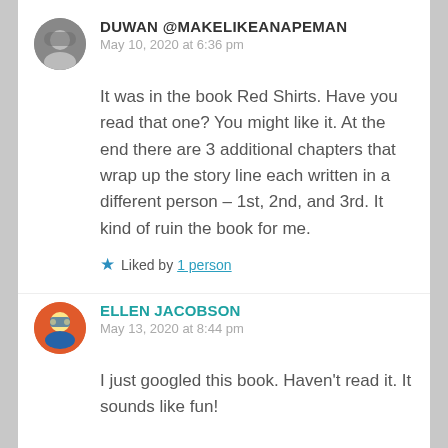DUWAN @MAKELIKEANAPEMAN
May 10, 2020 at 6:36 pm
It was in the book Red Shirts. Have you read that one? You might like it. At the end there are 3 additional chapters that wrap up the story line each written in a different person – 1st, 2nd, and 3rd. It kind of ruin the book for me.
Liked by 1 person
ELLEN JACOBSON
May 13, 2020 at 8:44 pm
I just googled this book. Haven't read it. It sounds like fun!